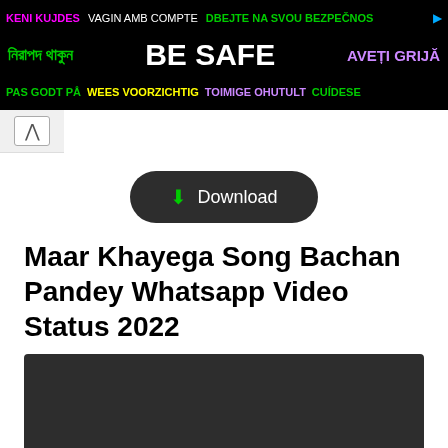[Figure (other): Multilingual safety advertisement banner with text in multiple languages: KENI KUJDES, VAGIN AMB COMPTE, DBEJTE NA SVOU BEZPEČNOS, Bengali text (নিরাপদ থাকুন), BE SAFE, AVEȚI GRIJĂ, PAS GODT PÅ, WEES VOORZICHTIG, TOIMIGE OHUTULT, CUÍDESE]
↑
[Figure (other): Download button with dark rounded rectangle background and green download icon]
Maar Khayega Song Bachan Pandey Whatsapp Video Status 2022
[Figure (other): Dark video thumbnail placeholder]